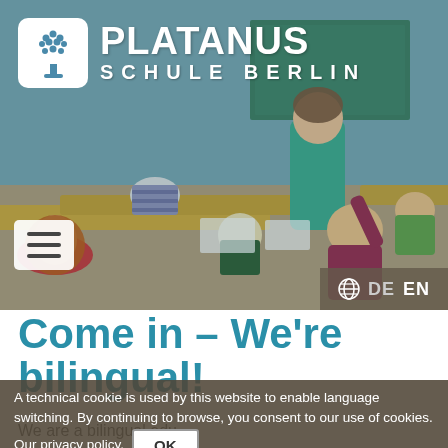[Figure (photo): Classroom scene with children sitting at yellow tables working, and a teacher in a green dress standing. Platanus Schule Berlin logo overlay at top.]
Come in – We're bilingual!
A technical cookie is used by this website to enable language switching. By continuing to browse, you consent to our use of cookies. Our privacy policy. OK
We are a bilingual educational institution (German/English) based in Berlin-Pankow with